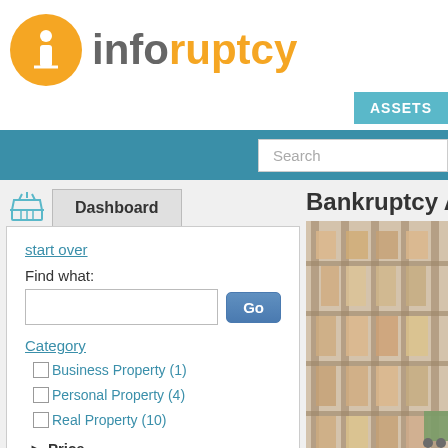[Figure (logo): Inforuptcy logo with orange circle containing white 'i' icon and text 'inforuptcy' in grey and orange]
ASSETS
Search
Dashboard
start over
Find what:
Go
Category
Business Property (1)
Personal Property (4)
Real Property (10)
Price
Location of Asset
Bankruptcy As
[Figure (photo): Warehouse with shelving racks filled with boxes and goods, slightly faded/transparent overlay]